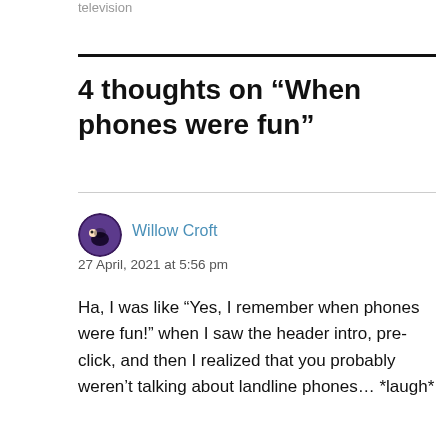television
4 thoughts on “When phones were fun”
Willow Croft
27 April, 2021 at 5:56 pm
Ha, I was like “Yes, I remember when phones were fun!” when I saw the header intro, pre-click, and then I realized that you probably weren’t talking about landline phones… *laugh*